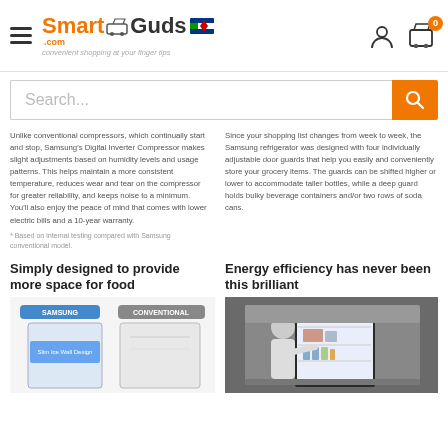SmartGuds.com — convenient shopping at your finger tips
Search...
Unlike conventional compressors, which continually start and stop, Samsung's Digital Inverter Compressor makes slight adjustments based on humidity levels and usage patterns. This helps maintain a more consistent temperature, reduces wear and tear on the compressor for greater reliability, and keeps noise to a minimum. You'll also enjoy the peace of mind that comes with lower electric bills and a 10-year warranty.
* Based on internal testing compared with Samsung conventional model.
Since your shopping list changes from week to week, the Samsung refrigerator was designed with four individually adjustable door guards that help you easily and conveniently store your grocery items. The guards can be shifted higher or lower to accommodate taller bottles, while a deep guard holds bulky beverage containers and/or two rows of soda cans.
Simply designed to provide more space for food
Energy efficiency has never been this brilliant
[Figure (photo): Comparison image showing Samsung vs Conventional refrigerator interior, with Samsung labeled and blue design highlighting Slim Ice Wall Design]
[Figure (photo): Photo of person looking into an open Samsung refrigerator stocked with groceries]